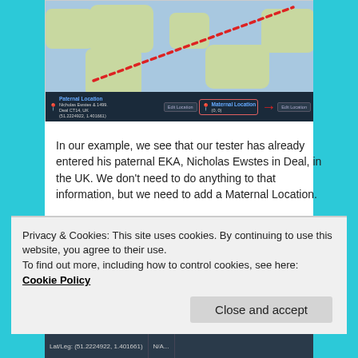[Figure (map): World map screenshot showing a dotted red diagonal line from lower-left to upper-right, with a dark bottom bar showing Paternal Location (Nicholas Ewstes in Deal, Deal CT14, UK, 51.2224922, 1.401661) and Maternal Location (highlighted in red box, 0,0), with Edit Location buttons and a red arrow pointing to Maternal Location.]
In our example, we see that our tester has already entered his paternal EKA, Nicholas Ewstes in Deal, in the UK. We don't need to do anything to that information, but we need to add a Maternal Location.
Click on “Edit Location”
Privacy & Cookies: This site uses cookies. By continuing to use this website, you agree to their use.
To find out more, including how to control cookies, see here: Cookie Policy
Close and accept
| Lat/Leg | N/A... |
| --- | --- |
| (51.2224922, 1.401661) | N/A... |